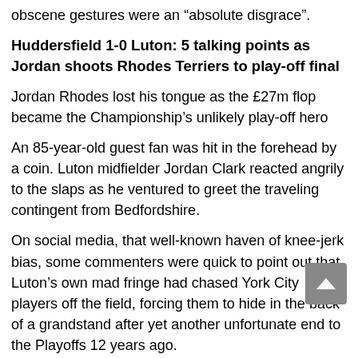obscene gestures were an “absolute disgrace”.
Huddersfield 1-0 Luton: 5 talking points as Jordan shoots Rhodes Terriers to play-off final
Jordan Rhodes lost his tongue as the £27m flop became the Championship’s unlikely play-off hero
An 85-year-old guest fan was hit in the forehead by a coin. Luton midfielder Jordan Clark reacted angrily to the slaps as he ventured to greet the traveling contingent from Bedfordshire.
On social media, that well-known haven of knee-jerk bias, some commenters were quick to point out that Luton’s own mad fringe had chased York City players off the field, forcing them to hide in the back of a grandstand after yet another unfortunate end to the Playoffs 12 years ago.